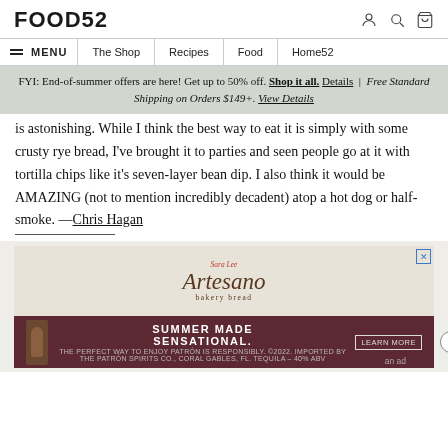FOOD52
MENU  The Shop  Recipes  Food  Home52
FYI: End-of-summer offers are here! Get up to 50% off. Shop it all. Details | Free Standard Shipping on Orders $149+. View Details
is astonishing. While I think the best way to eat it is simply with some crusty rye bread, I've brought it to parties and seen people go at it with tortilla chips like it's seven-layer bean dip. I also think it would be AMAZING (not to mention incredibly decadent) atop a hot dog or half-smoke. —Chris Hagan
[Figure (advertisement): Sara Lee Artesano bakery bread advertisement with white/beige background, script logo, and italic product name]